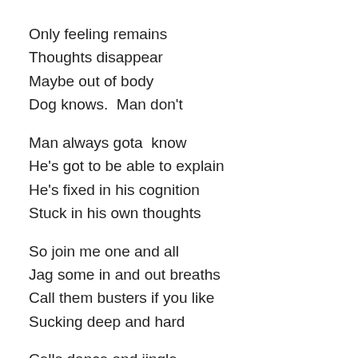Only feeling remains
Thoughts disappear
Maybe out of body
Dog knows.  Man don't
Man always gota  know
He's got to be able to explain
He's fixed in his cognition
Stuck in his own thoughts
So join me one and all
Jag some in and out breaths
Call them busters if you like
Sucking deep and hard
Cells dance and jingle